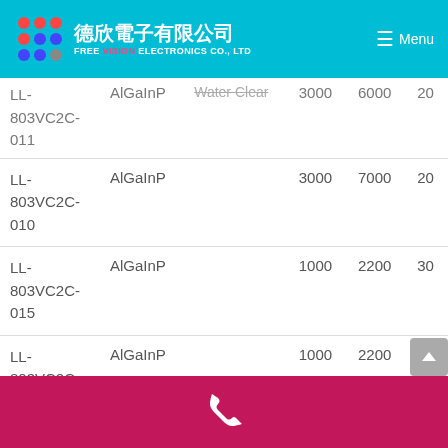德欣電子有限公司 FREE VISION ELECTRONICS CO., LTD — Menu
| Part No. | Material | Lens | Min Qty | Max Qty | Lead |
| --- | --- | --- | --- | --- | --- |
| LL-803VC2C-011 | AlGaInP | Water Clear | 3000 | 6000 | 20 |
| LL-803VC2C-010 | AlGaInP |  | 3000 | 7000 | 20 |
| LL-803VC2C-015 | AlGaInP |  | 1000 | 2200 | 30 |
| LL-803VC2C-016 | AlGaInP |  | 1000 | 2200 | 20 |
Phone contact